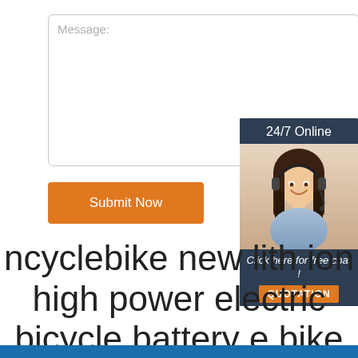[Figure (screenshot): Message text input box with placeholder text 'Message:']
[Figure (screenshot): Orange 'Submit Now' button]
[Figure (screenshot): 24/7 Online chat widget with photo of woman wearing headset, 'Click here for free chat!' text, and orange QUOTATION button]
ncyclebike new lith ion high power electric bicycle battery e bike kit 1000w 1500w 2000w